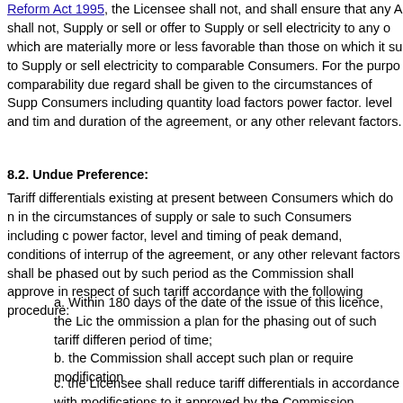the Indian Electricity Act, 1910 (9 of 1910) and Section 22(1) of the Electricity Supply Reform Act 1995, the Licensee shall not, and shall ensure that any Affiliate shall not, Supply or sell or offer to Supply or sell electricity to any other person on terms which are materially more or less favorable than those on which it supplies or offers to Supply or sell electricity to comparable Consumers. For the purposes of assessing comparability due regard shall be given to the circumstances of Supply or sale to such Consumers including quantity load factors power factor. level and timing of peak demand and duration of the agreement, or any other relevant factors.
8.2. Undue Preference:
Tariff differentials existing at present between Consumers which do not reflect differences in the circumstances of supply or sale to such Consumers including quantity, load factors, power factor, level and timing of peak demand, conditions of interruption, and duration of the agreement, or any other relevant factors shall be phased out by the Licensee within such period as the Commission shall approve in respect of such tariff differentials, in accordance with the following procedure:
a. Within 180 days of the date of the issue of this licence, the Licensee shall submit to the ommission a plan for the phasing out of such tariff differentials within a specified period of time;
b. the Commission shall accept such plan or require modifications thereto;
c. the Licensee shall reduce tariff differentials in accordance with the plan or any modifications to it approved by the Commission